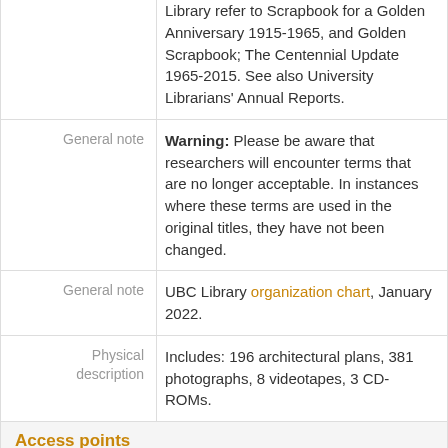Library refer to Scrapbook for a Golden Anniversary 1915-1965, and Golden Scrapbook; The Centennial Update 1965-2015. See also University Librarians' Annual Reports.
General note — Warning: Please be aware that researchers will encounter terms that are no longer acceptable. In instances where these terms are used in the original titles, they have not been changed.
General note — UBC Library organization chart, January 2022.
Physical description — Includes: 196 architectural plans, 381 photographs, 8 videotapes, 3 CD-ROMs.
Access points
Subject access points: Education; Arts and culture
Place access points: British Columbia » Vancouver (B.C.)
Name access points: McGill University College of British Columbia (Subject)